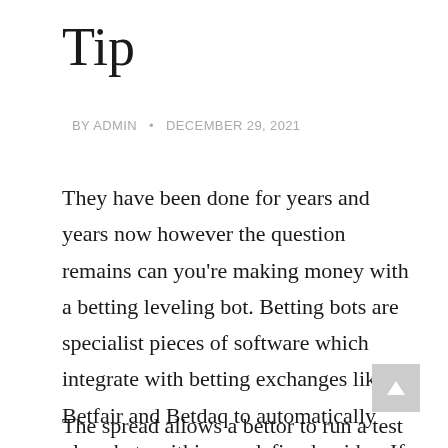Tip
BY ADMIN • DECEMBER 29, 2021
They have been done for years and years now however the question remains can you're making money with a betting leveling bot. Betting bots are specialist pieces of software which integrate with betting exchanges like Betfair and Betdaq to automatically place bets within pre defined guides. If you set them up into a winning betting strategy really can building income with them.
The spread allows a bettor to run a test